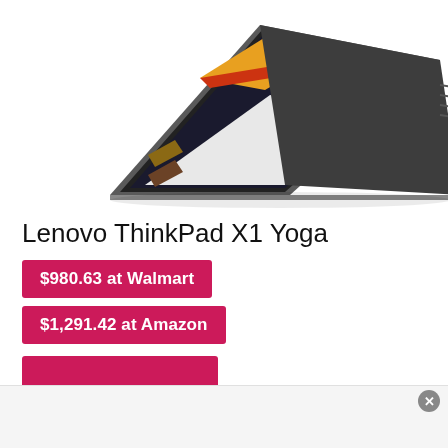[Figure (photo): Lenovo ThinkPad X1 Yoga laptop in tent mode, showing a presentation on screen, dark gray chassis]
Lenovo ThinkPad X1 Yoga
$980.63 at Walmart
$1,291.42 at Amazon